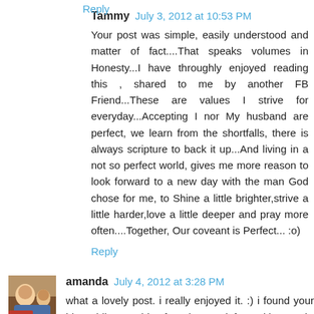Reply
Tammy  July 3, 2012 at 10:53 PM
Your post was simple, easily understood and matter of fact....That speaks volumes in Honesty...I have throughly enjoyed reading this , shared to me by another FB Friend...These are values I strive for everyday...Accepting I nor My husband are perfect, we learn from the shortfalls, there is always scripture to back it up...And living in a not so perfect world, gives me more reason to look forward to a new day with the man God chose for me, to Shine a little brighter,strive a little harder,love a little deeper and pray more often....Together, Our coveant is Perfect... :o)
Reply
amanda  July 4, 2012 at 3:28 PM
what a lovely post. i really enjoyed it. :) i found your blog while searching for advocare info. and i LOVE it.
Reply